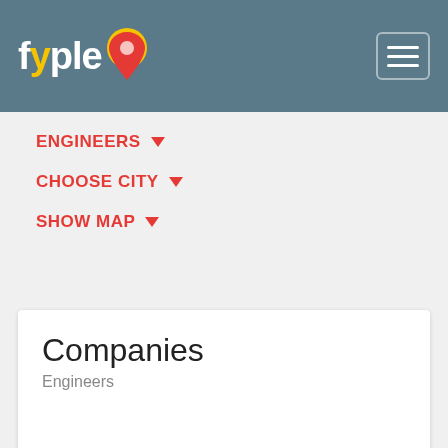fyple — navigation header with logo and hamburger menu
ENGINEERS ▾
CHOOSE CITY ▾
SHOW MAP ▾
Companies
Engineers